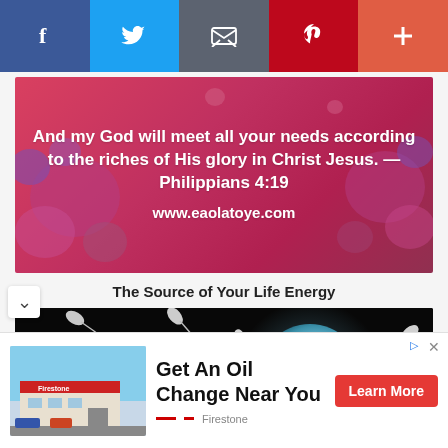[Figure (screenshot): Social media sharing toolbar with Facebook, Twitter, Email, Pinterest, and plus buttons]
[Figure (illustration): Red/pink background with hearts and white bold text: 'And my God will meet all your needs according to the riches of His glory in Christ Jesus. — Philippians 4:19' and 'www.eaolatoye.com']
The Source of Your Life Energy
[Figure (photo): Scientific illustration of sperm cells approaching an egg cell on a black background]
[Figure (screenshot): Advertisement: Firestone store photo. Text: 'Get An Oil Change Near You'. Learn More button. Brand: Firestone]